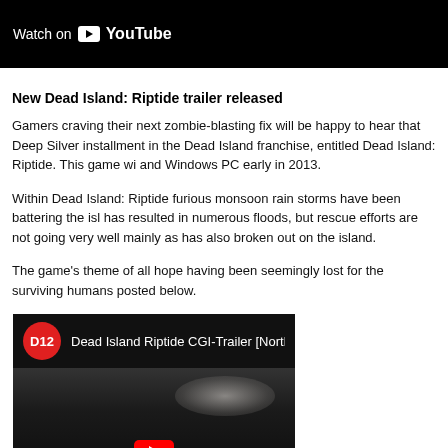[Figure (screenshot): YouTube video player top bar showing 'Watch on YouTube' button on black background]
New Dead Island: Riptide trailer released
Gamers craving their next zombie-blasting fix will be happy to hear that Deep Silver installment in the Dead Island franchise, entitled Dead Island: Riptide. This game wi and Windows PC early in 2013.
Within Dead Island: Riptide furious monsoon rain storms have been battering the isl has resulted in numerous floods, but rescue efforts are not going very well mainly as has also broken out on the island.
The game's theme of all hope having been seemingly lost for the surviving humans posted below.
[Figure (screenshot): YouTube video embed showing Dead Island Riptide CGI-Trailer with D12 channel logo and dark thumbnail with smoke and red play button]